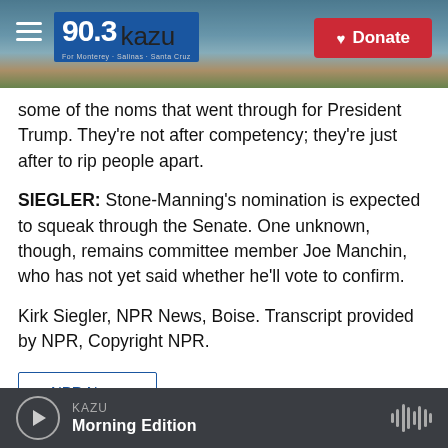[Figure (screenshot): KAZU 90.3 radio station header with logo and Donate button over coastal landscape photo]
some of the noms that went through for President Trump. They're not after competency; they're just after to rip people apart.
SIEGLER: Stone-Manning's nomination is expected to squeak through the Senate. One unknown, though, remains committee member Joe Manchin, who has not yet said whether he'll vote to confirm.
Kirk Siegler, NPR News, Boise. Transcript provided by NPR, Copyright NPR.
NPR News
KAZU Morning Edition